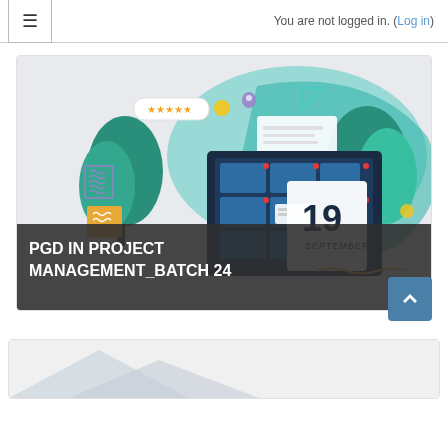You are not logged in. (Log in)
[Figure (illustration): Project management course banner illustration showing a calendar with date 19 September, a computer monitor with a blue grid/schedule interface, decorative elements including stars, location pin, teal trees/plants, and geometric shapes. Dark overlay at bottom with white text.]
PGD IN PROJECT MANAGEMENT_BATCH 24
[Figure (illustration): Partially visible second course card at the bottom of the page showing the beginning of another illustration.]